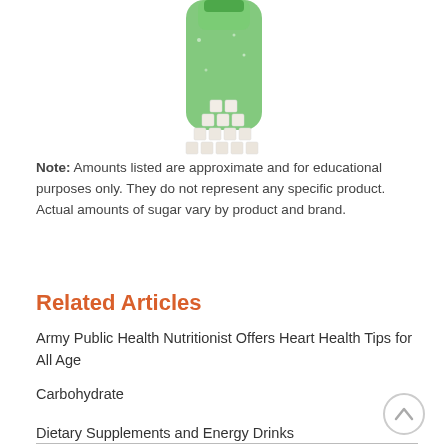[Figure (photo): A green soda bottle with sugar cubes stacked in a pyramid shape in front of it, illustrating the sugar content of the beverage.]
Note: Amounts listed are approximate and for educational purposes only. They do not represent any specific product. Actual amounts of sugar vary by product and brand.
Related Articles
Army Public Health Nutritionist Offers Heart Health Tips for All Age
Carbohydrate
Dietary Supplements and Energy Drinks